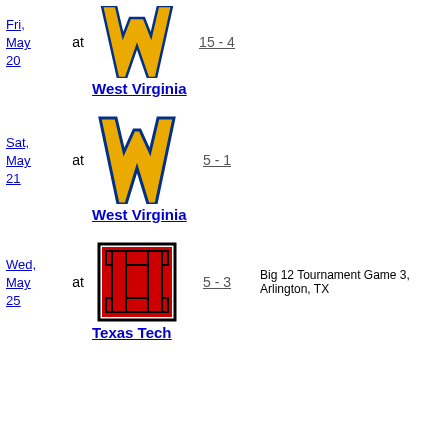Fri, May 20 at West Virginia 15 - 4
Sat, May 21 at West Virginia 5 - 1
Wed, May 25 at Texas Tech 5 - 3 Big 12 Tournament Game 3, Arlington, TX